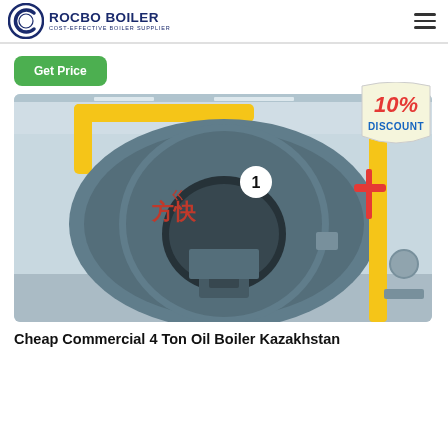ROCBO BOILER - COST-EFFECTIVE BOILER SUPPLIER
[Figure (logo): Rocbo Boiler logo with circular C icon and tagline 'COST-EFFECTIVE BOILER SUPPLIER']
Get Price
[Figure (photo): Industrial oil/gas boiler unit in a factory setting. Large cylindrical grey boiler with red Chinese characters and the number 1 circled. Yellow gas pipes visible. A 10% discount badge overlaid in top right corner.]
Cheap Commercial 4 Ton Oil Boiler Kazakhstan